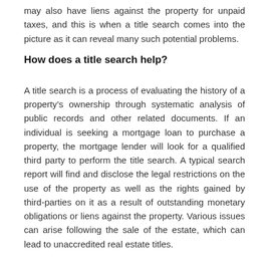may also have liens against the property for unpaid taxes, and this is when a title search comes into the picture as it can reveal many such potential problems.
How does a title search help?
A title search is a process of evaluating the history of a property's ownership through systematic analysis of public records and other related documents. If an individual is seeking a mortgage loan to purchase a property, the mortgage lender will look for a qualified third party to perform the title search. A typical search report will find and disclose the legal restrictions on the use of the property as well as the rights gained by third-parties on it as a result of outstanding monetary obligations or liens against the property. Various issues can arise following the sale of the estate, which can lead to unaccredited real estate titles.